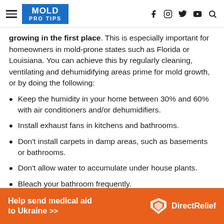MOLD PRO TIPS
growing in the first place. This is especially important for homeowners in mold-prone states such as Florida or Louisiana. You can achieve this by regularly cleaning, ventilating and dehumidifying areas prime for mold growth, or by doing the following:
Keep the humidity in your home between 30% and 60% with air conditioners and/or dehumidifiers.
Install exhaust fans in kitchens and bathrooms.
Don't install carpets in damp areas, such as basements or bathrooms.
Don't allow water to accumulate under house plants.
Bleach your bathroom frequently.
[Figure (infographic): Orange advertisement banner: 'Help send medical aid to Ukraine >>' with DirectRelief logo]